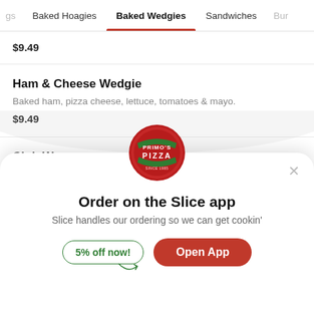gs  Baked Hoagies  Baked Wedgies  Sandwiches  Bur
$9.49
Ham & Cheese Wedgie
Baked ham, pizza cheese, lettuce, tomatoes & mayo.
$9.49
Club We...
B...
[Figure (logo): Primo's Pizza circular logo — red circle with green banner and white text]
Order on the Slice app
Slice handles our ordering so we can get cookin'
5% off now!
Open App